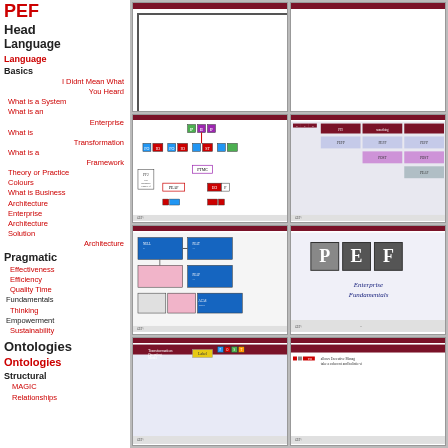Head
Language
Language Basics
I Didnt Mean What You Heard
What is a System
What is an Enterprise
What is Transformation
What is a Framework
Theory or Practice
Colours
What is Business Architecture
Enterprise Architecture
Solution Architecture
Pragmatic
Effectiveness
Efficiency
Quality Time
Fundamentals
Thinking
Empowerment
Sustainability
Ontologies
Ontologies
Structural
MAGIC
Relationships
[Figure (screenshot): Blank white slide thumbnail with dark border]
[Figure (screenshot): Blank white slide thumbnail with dark border]
[Figure (screenshot): PEF framework diagram with colored letter boxes and connecting lines]
[Figure (screenshot): The Pragmatic Standard of Frameworks table diagram]
[Figure (screenshot): Architecture diagram with blue and pink boxes connected by arrows]
[Figure (screenshot): PEF Enterprise Fundamentals logo slide]
[Figure (screenshot): Transformation Operating Model slide with coloured boxes]
[Figure (screenshot): Slide with text about Executive Management taking coherent and holistic view]